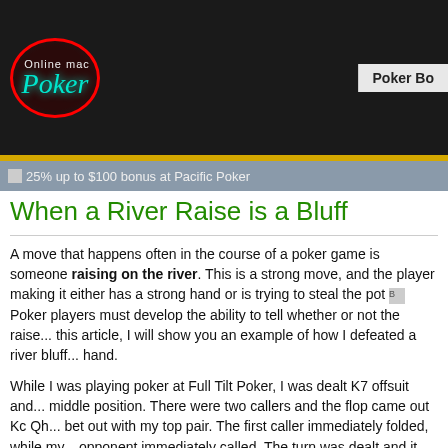Online mac Poker | Poker Bo...
25% up to $100 bonus at Pacific Poker
When a River Raise is a Bluff
A move that happens often in the course of a poker game is someone raising on the river. This is a strong move, and the player making it either has a strong hand or is trying to steal the pot. Poker players must develop the ability to tell whether or not the raise... this article, I will show you an example of how I defeated a river bluff... hand.
While I was playing poker at Full Tilt Poker, I was dealt K7 offsuit and... middle position. There were two callers and the flop came out Kc Qh... bet out with my top pair. The first caller immediately folded, while my... opponent immediately called. The turn was dealt and it was 2s. I bet... there was another immediate call from my only remaining opponent.... 5c. I bet for a third time, confident I had the best hand.
To my surprise, my opponent raised, forcing me to determine what c... opponent was holding. There were no flush possibilities, but there ...